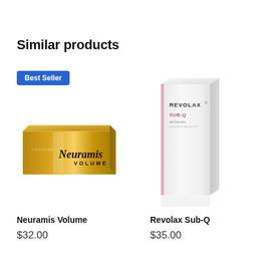Similar products
[Figure (photo): Best Seller badge above Neuramis Volume gold product box]
Neuramis Volume
$32.00
[Figure (photo): Revolax Sub-Q white vertical product box]
Revolax Sub-Q
$35.00